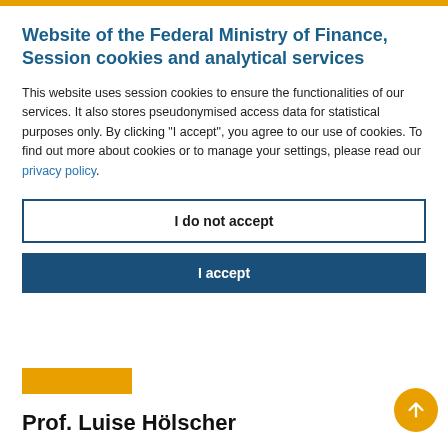Website of the Federal Ministry of Finance, Session cookies and analytical services
This website uses session cookies to ensure the functionalities of our services. It also stores pseudonymised access data for statistical purposes only. By clicking "I accept", you agree to our use of cookies. To find out more about cookies or to manage your settings, please read our privacy policy.
I do not accept
I accept
Prof. Luise Hölscher
State Secretary at the Federal Ministry of Finance. Customs policy, tax policy and federal financial